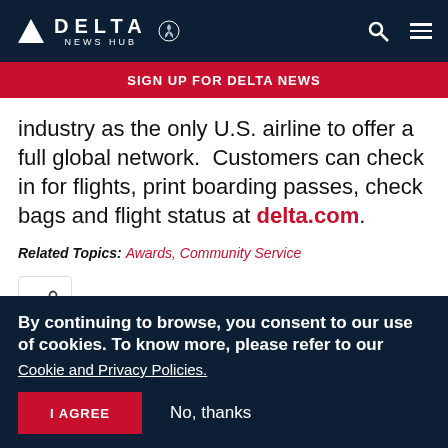DELTA NEWS HUB
SIGN UP FOR DELTA NEWS
industry as the only U.S. airline to offer a full global network.  Customers can check in for flights, print boarding passes, check bags and flight status at delta.com.
Related Topics: Awards, Community Service
[Figure (other): Share icon button]
By continuing to browse, you consent to our use of cookies. To know more, please refer to our Cookie and Privacy Policies.